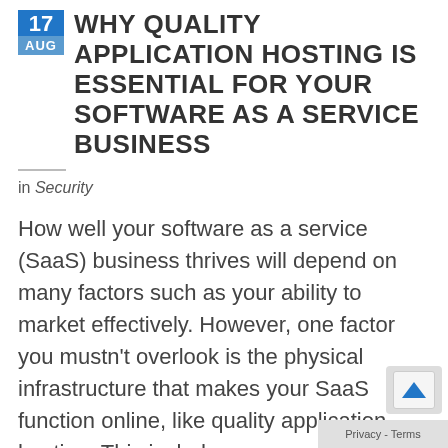WHY QUALITY APPLICATION HOSTING IS ESSENTIAL FOR YOUR SOFTWARE AS A SERVICE BUSINESS
in Security
How well your software as a service (SaaS) business thrives will depend on many factors such as your ability to market effectively. However, one factor you mustn't overlook is the physical infrastructure that makes your SaaS function online, like quality application hosting. This includes your servers and the facilities that support them. Get this wrong, and you could lose substantial business or possibly your entire business.